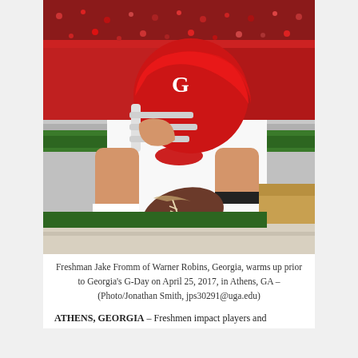[Figure (photo): A football player wearing a red University of Georgia helmet and white uniform holds a football in throwing position, with a large crowd of fans in red in the background at Sanford Stadium.]
Freshman Jake Fromm of Warner Robins, Georgia, warms up prior to Georgia's G-Day on April 25, 2017, in Athens, GA – (Photo/Jonathan Smith, jps30291@uga.edu)
ATHENS, GEORGIA – Freshmen impact players and